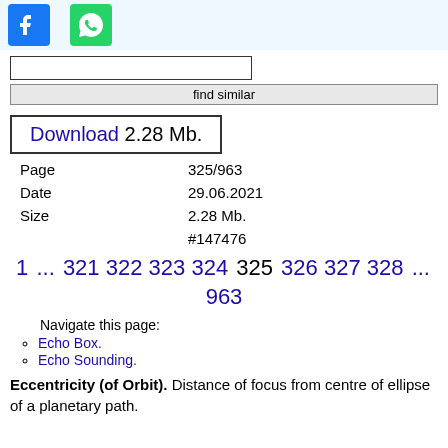[Figure (logo): Facebook icon (blue background with white f)]
[Figure (logo): WhatsApp icon (green background with white phone/chat logo)]
find similar
Download 2.28 Mb.
| Page | 325/963 |
| Date | 29.06.2021 |
| Size | 2.28 Mb. |
|  | #147476 |
1 ... 321 322 323 324 325 326 327 328 ... 963
Navigate this page:
Echo Box.
Echo Sounding.
Eccentricity (of Orbit). Distance of focus from centre of ellipse of a planetary path.